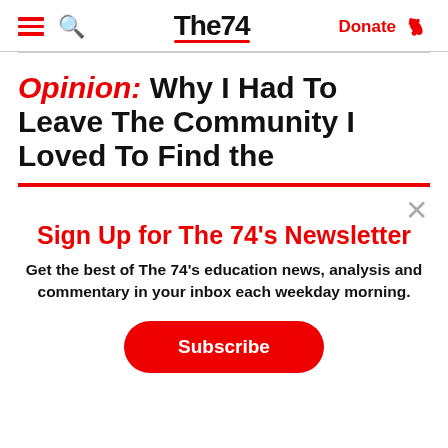The74 — Donate
Opinion: Why I Had To Leave The Community I Loved To Find the
Sign Up for The 74's Newsletter
Get the best of The 74's education news, analysis and commentary in your inbox each weekday morning.
Subscribe